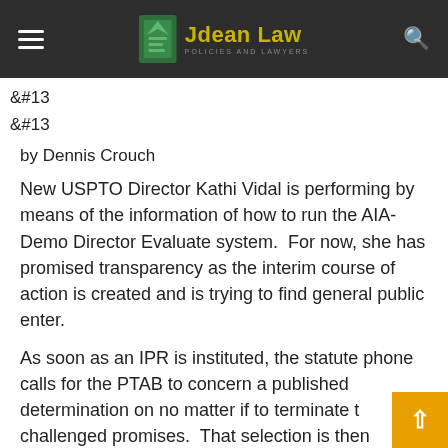Jdean Law
&#13
&#13
by Dennis Crouch
New USPTO Director Kathi Vidal is performing by means of the information of how to run the AIA-Demo Director Evaluate system.  For now, she has promised transparency as the interim course of action is created and is trying to find general public enter.
As soon as an IPR is instituted, the statute phone calls for the PTAB to concern a published determination on no matter if to terminate the challenged promises.  That selection is then